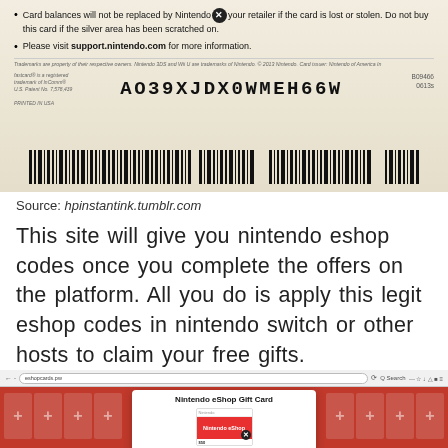[Figure (photo): Nintendo eShop card back showing card terms text, code 'AO39XJDX0WMEH66W', and barcode]
Source: hpinstantink.tumblr.com
This site will give you nintendo eshop codes once you complete the offers on the platform. All you do is apply this legit eshop codes in nintendo switch or other hosts to claim your free gifts.
[Figure (screenshot): Screenshot of eshopcard website showing Nintendo eShop Gift Card page with red background and white card popup]